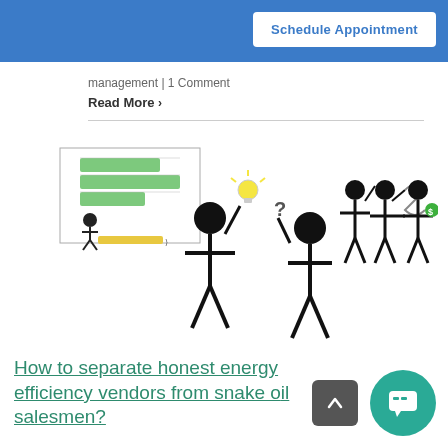Schedule Appointment
management | 1 Comment
Read More >
[Figure (illustration): Stick figure illustrations showing people discussing or sharing ideas; a smaller inset image shows a figure measuring something with a ruler/chart in a spreadsheet-like context.]
How to separate honest energy efficiency vendors from snake oil salesmen?